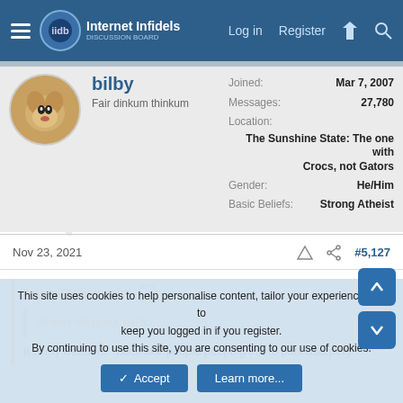Internet Infidels — Log in | Register
bilby
Fair dinkum thinkum
Joined: Mar 7, 2007
Messages: 27,780
Location: The Sunshine State: The one with Crocs, not Gators
Gender: He/Him
Basic Beliefs: Strong Atheist
Nov 23, 2021 #5,127
Angra Mainyu said:
Jimmy Higgins said:
It is my freedom. Much like people pooping in the pool usurping
This site uses cookies to help personalise content, tailor your experience and to keep you logged in if you register.
By continuing to use this site, you are consenting to our use of cookies.
Accept | Learn more...